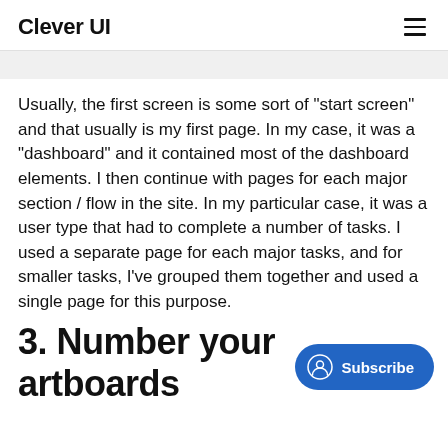Clever UI
Usually, the first screen is some sort of "start screen" and that usually is my first page. In my case, it was a "dashboard" and it contained most of the dashboard elements. I then continue with pages for each major section / flow in the site. In my particular case, it was a user type that had to complete a number of tasks. I used a separate page for each major tasks, and for smaller tasks, I've grouped them together and used a single page for this purpose.
[Figure (other): Blue rounded Subscribe button with user/person circle icon]
3. Number your artboards